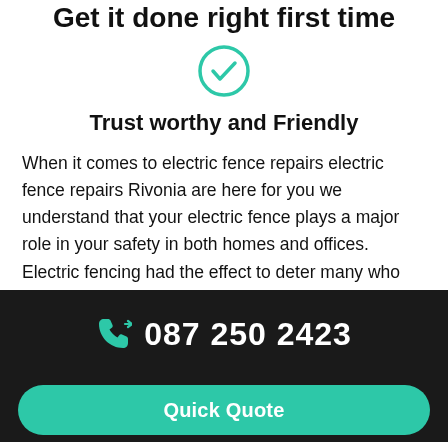Get it done right first time
[Figure (illustration): Teal circle with a white checkmark inside]
Trust worthy and Friendly
When it comes to electric fence repairs electric fence repairs Rivonia are here for you we understand that your electric fence plays a major role in your safety in both homes and offices. Electric fencing had the effect to deter many who would otherwise take a chance to gain access to your property.
Electric fence repairs Rivonia will make sure that your
087 250 2423
Quick Quote